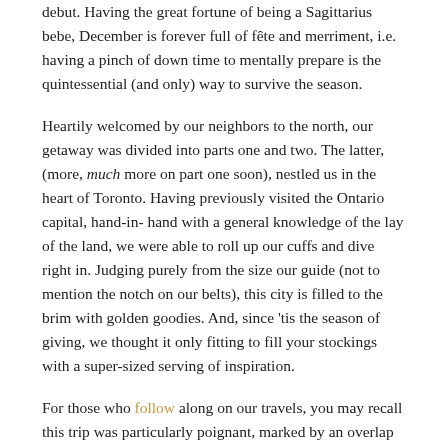debut. Having the great fortune of being a Sagittarius bebe, December is forever full of fête and merriment, i.e. having a pinch of down time to mentally prepare is the quintessential (and only) way to survive the season.
Heartily welcomed by our neighbors to the north, our getaway was divided into parts one and two. The latter, (more, much more on part one soon), nestled us in the heart of Toronto. Having previously visited the Ontario capital, hand-in-hand with a general knowledge of the lay of the land, we were able to roll up our cuffs and dive right in. Judging purely from the size our guide (not to mention the notch on our belts), this city is filled to the brim with golden goodies. And, since 'tis the season of giving, we thought it only fitting to fill your stockings with a super-sized serving of inspiration.
For those who follow along on our travels, you may recall this trip was particularly poignant, marked by an overlap with Small Business Saturday, and the perfect opportunity to visit some of our favorite purveyors in support of the #shopsmall movement. Two ladies in particular, Christine + Camille, rank high atop our creative charts for women fulfilling their dreams, each a renegade in her own right. Their shoppes, tucked away in differing 'hoods of this sprawling city, are a